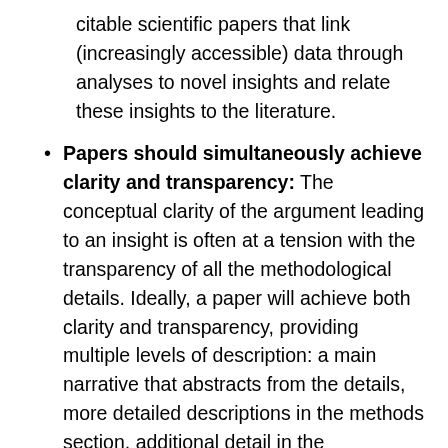citable scientific papers that link (increasingly accessible) data through analyses to novel insights and relate these insights to the literature.
Papers should simultaneously achieve clarity and transparency: The conceptual clarity of the argument leading to an insight is often at a tension with the transparency of all the methodological details. Ideally, a paper will achieve both clarity and transparency, providing multiple levels of description: a main narrative that abstracts from the details, more detailed descriptions in the methods section, additional detail in the supplementary information, and full detail in the links to the open data and code, which together enable